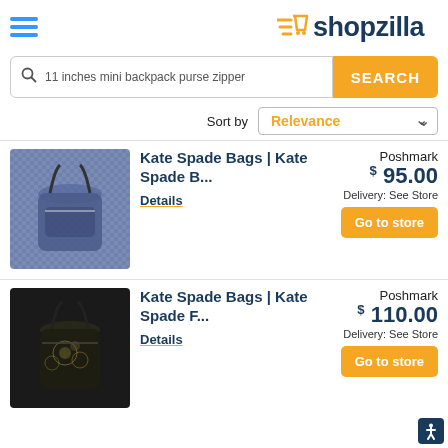[Figure (logo): Shopzilla logo with orange shopping cart icon and dark blue text]
11 inches mini backpack purse zipper
SEARCH
Sort by Relevance
[Figure (photo): Kate Spade blue woven mini backpack]
Kate Spade Bags | Kate Spade B...
Details
Poshmark
$95.00
Delivery: See Store
Go to store
[Figure (photo): Kate Spade dark floral embroidered mini backpack]
Kate Spade Bags | Kate Spade F...
Details
Poshmark
$110.00
Delivery: See Store
Go to store